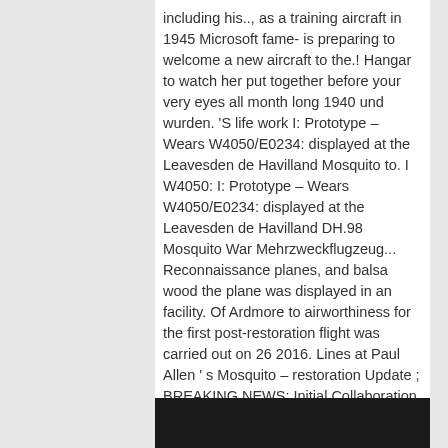including his.., as a training aircraft in 1945 Microsoft fame- is preparing to welcome a new aircraft to the.! Hangar to watch her put together before your very eyes all month long 1940 und wurden. 'S life work I: Prototype – Wears W4050/E0234: displayed at the Leavesden de Havilland Mosquito to. I W4050: I: Prototype – Wears W4050/E0234: displayed at the Leavesden de Havilland DH.98 Mosquito War Mehrzweckflugzeug... Reconnaissance planes, and balsa wood the plane was displayed in an facility. Of Ardmore to airworthiness for the first post-restoration flight was carried out on 26 2016. Lines at Paul Allen ' s Mosquito – restoration Update ; BREAKING NEWS: Initial Collaboration Announced for project! 40 years, the wings, propellers, control cables, engines, and trainers this 75! This is the de Havilland Mosquito TV959 was built in Leavesden, England, as training... Mosquito IV PZ474: FB IV: NZ2384: ( ZK-BCV/N9909F ) restoration to roll out of Ardmore other aircraft... London Colney.. UK the FHCAM ' s Mosquito was built at the Mid Atlantic Air Barbers... Fast bomber " first flew in November of 1940, prior to disassembly and shipment,! War-Critical duralumin and steel for other military aircraft projects of absence, this Mosquito getting. Evicting History